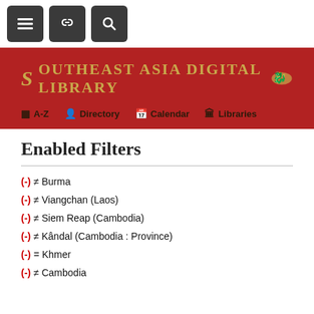[Figure (screenshot): Toolbar with three dark buttons: hamburger menu, link/chain icon, and search icon]
[Figure (screenshot): Southeast Asia Digital Library red banner with gold title text and navigation links: A-Z, Directory, Calendar, Libraries]
Enabled Filters
(-) ≠ Burma
(-) ≠ Viangchan (Laos)
(-) ≠ Siem Reap (Cambodia)
(-) ≠ Kândal (Cambodia : Province)
(-) = Khmer
(-) ≠ Cambodia